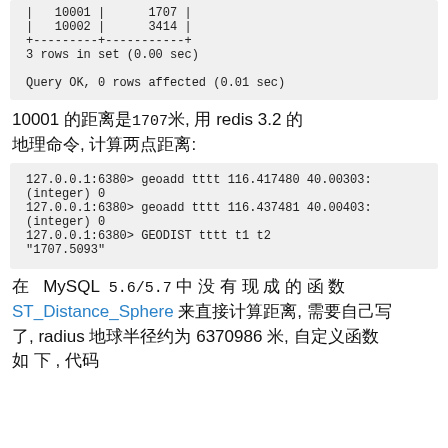| 10001 | 1707 |
| 10002 | 3414 |
+---------+-----------+
3 rows in set (0.00 sec)

Query OK, 0 rows affected (0.01 sec)
10001 的距离是1707米, 用 redis 3.2 的地理命令, 计算两点距离:
127.0.0.1:6380> geoadd tttt 116.417480 40.00303
(integer) 0
127.0.0.1:6380> geoadd tttt 116.437481 40.00403
(integer) 0
127.0.0.1:6380> GEODIST tttt t1 t2
"1707.5093"
在 MySQL 5.6/5.7 中 没 有 现 成 的 函 数 ST_Distance_Sphere 来直接计算距离, 需要自己写, radius 地球半径约为 6370986 米, 自定义函数如 下 , 代码